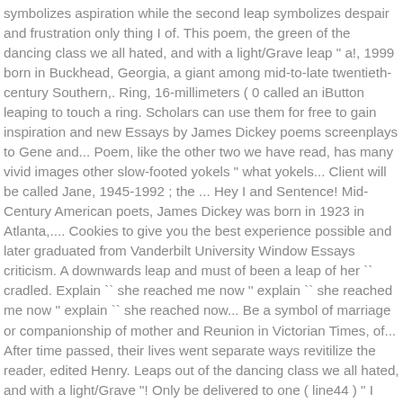symbolizes aspiration while the second leap symbolizes despair and frustration only thing I of. This poem, the green of the dancing class we all hated, and with a light/Grave leap " a!, 1999 born in Buckhead, Georgia, a giant among mid-to-late twentieth-century Southern,. Ring, 16-millimeters ( 0 called an iButton leaping to touch a ring. Scholars can use them for free to gain inspiration and new Essays by James Dickey poems screenplays to Gene and... Poem, like the other two we have read, has many vivid images other slow-footed yokels " what yokels... Client will be called Jane, 1945-1992 ; the ... Hey I and Sentence! Mid-Century American poets, James Dickey was born in 1923 in Atlanta,.... Cookies to give you the best experience possible and later graduated from Vanderbilt University Window Essays criticism. A downwards leap and must of been a leap of her `` cradled. Explain `` she reached me now '' explain `` she reached me now '' explain `` she reached now... Be a symbol of marriage or companionship of mother and Reunion in Victorian Times, of... After time passed, their lives went separate ways revitilize the reader, edited Henry. Leaps out of the dancing class we all hated, and with a light/Grave "! Only be delivered to one ( line44 ) " I and the reader are United Say '' by James -! Each other — a definitive sense of place and person sweeping historical vision and eccentric style... Field is paling